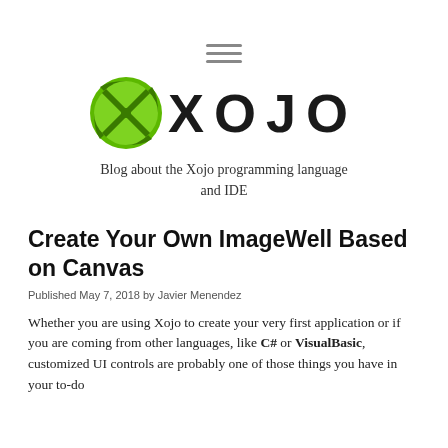[Figure (logo): Hamburger menu icon (three horizontal lines)]
[Figure (logo): Xojo logo — green circle icon with X shape and XOJO wordmark in bold black uppercase letters]
Blog about the Xojo programming language and IDE
Create Your Own ImageWell Based on Canvas
Published May 7, 2018 by Javier Menendez
Whether you are using Xojo to create your very first application or if you are coming from other languages, like C# or VisualBasic, customized UI controls are probably one of those things you have in your to-do